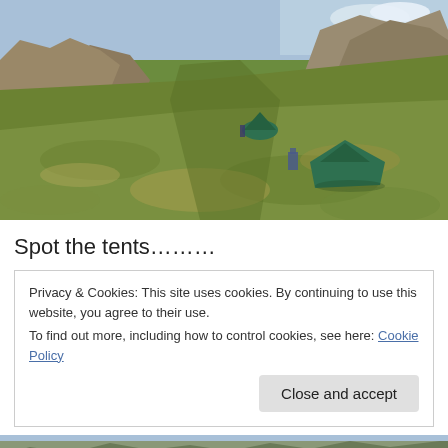[Figure (photo): Outdoor hillside scene with green tents pitched on grassy slopes between rocky outcrops. A small green dome tent is visible in the upper middle area and a larger green tent is in the lower right area. The landscape is hilly with rocky formations and mostly green/yellow grass.]
Spot the tents………
Privacy & Cookies: This site uses cookies. By continuing to use this website, you agree to their use.
To find out more, including how to control cookies, see here: Cookie Policy
Close and accept
[Figure (photo): Partial view of a rocky hilltop or mountain ridge at the bottom of the page.]